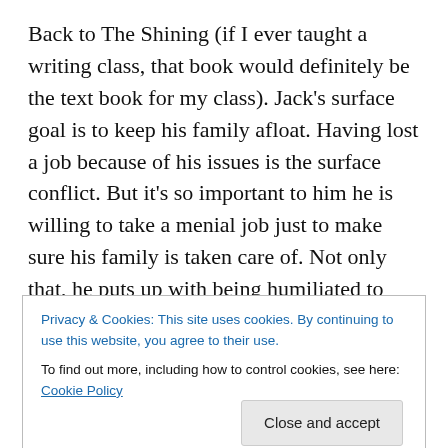Back to The Shining (if I ever taught a writing class, that book would definitely be the text book for my class). Jack's surface goal is to keep his family afloat. Having lost a job because of his issues is the surface conflict. But it's so important to him he is willing to take a menial job just to make sure his family is taken care of. Not only that, he puts up with being humiliated to even be in that position. Now, deep down there's even more to it. He is humiliated with himself. He has not been able to keep his family afloat because of his own bad decisions, and he knows
Privacy & Cookies: This site uses cookies. By continuing to use this website, you agree to their use.
To find out more, including how to control cookies, see here: Cookie Policy
Close and accept
we all know that healing comes from pain. So he must go